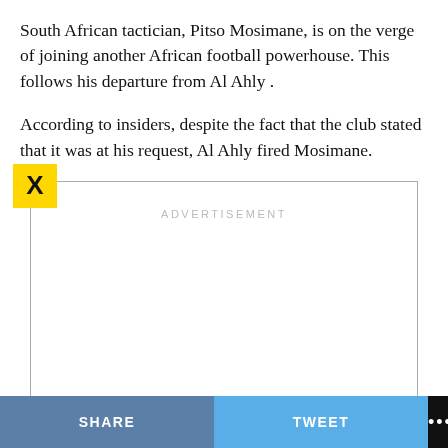South African tactician, Pitso Mosimane, is on the verge of joining another African football powerhouse. This follows his departure from Al Ahly .
According to insiders, despite the fact that the club stated that it was at his request, Al Ahly fired Mosimane.
[Figure (other): Advertisement placeholder box with a yellow X close button in the top-left corner and the text 'ADVERTISEMENT' centered near the top.]
SHARE   TWEET   ...